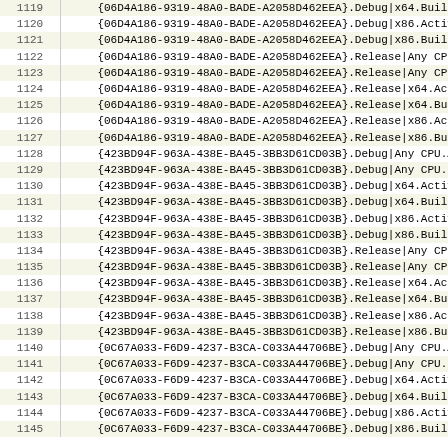| Line | Code |
| --- | --- |
| 1119 | {06D4A186-9319-48A0-BADE-A2058D462EEA}.Debug|x64.Build.0 |
| 1120 | {06D4A186-9319-48A0-BADE-A2058D462EEA}.Debug|x86.ActiveC |
| 1121 | {06D4A186-9319-48A0-BADE-A2058D462EEA}.Debug|x86.Build.0 |
| 1122 | {06D4A186-9319-48A0-BADE-A2058D462EEA}.Release|Any CPU.A |
| 1123 | {06D4A186-9319-48A0-BADE-A2058D462EEA}.Release|Any CPU.B |
| 1124 | {06D4A186-9319-48A0-BADE-A2058D462EEA}.Release|x64.Activ |
| 1125 | {06D4A186-9319-48A0-BADE-A2058D462EEA}.Release|x64.Build |
| 1126 | {06D4A186-9319-48A0-BADE-A2058D462EEA}.Release|x86.Activ |
| 1127 | {06D4A186-9319-48A0-BADE-A2058D462EEA}.Release|x86.Build |
| 1128 | {423BD94F-963A-438E-BA45-3BB3D61CD03B}.Debug|Any CPU.Act |
| 1129 | {423BD94F-963A-438E-BA45-3BB3D61CD03B}.Debug|Any CPU.Bui |
| 1130 | {423BD94F-963A-438E-BA45-3BB3D61CD03B}.Debug|x64.ActiveC |
| 1131 | {423BD94F-963A-438E-BA45-3BB3D61CD03B}.Debug|x64.Build.0 |
| 1132 | {423BD94F-963A-438E-BA45-3BB3D61CD03B}.Debug|x86.ActiveC |
| 1133 | {423BD94F-963A-438E-BA45-3BB3D61CD03B}.Debug|x86.Build.0 |
| 1134 | {423BD94F-963A-438E-BA45-3BB3D61CD03B}.Release|Any CPU.A |
| 1135 | {423BD94F-963A-438E-BA45-3BB3D61CD03B}.Release|Any CPU.B |
| 1136 | {423BD94F-963A-438E-BA45-3BB3D61CD03B}.Release|x64.Activ |
| 1137 | {423BD94F-963A-438E-BA45-3BB3D61CD03B}.Release|x64.Build |
| 1138 | {423BD94F-963A-438E-BA45-3BB3D61CD03B}.Release|x86.Activ |
| 1139 | {423BD94F-963A-438E-BA45-3BB3D61CD03B}.Release|x86.Build |
| 1140 | {0C67A033-F6D9-4237-B3CA-C033A44706BE}.Debug|Any CPU.Act |
| 1141 | {0C67A033-F6D9-4237-B3CA-C033A44706BE}.Debug|Any CPU.Bui |
| 1142 | {0C67A033-F6D9-4237-B3CA-C033A44706BE}.Debug|x64.ActiveC |
| 1143 | {0C67A033-F6D9-4237-B3CA-C033A44706BE}.Debug|x64.Build.0 |
| 1144 | {0C67A033-F6D9-4237-B3CA-C033A44706BE}.Debug|x86.ActiveC |
| 1145 | {0C67A033-F6D9-4237-B3CA-C033A44706BE}.Debug|x86.Buil |